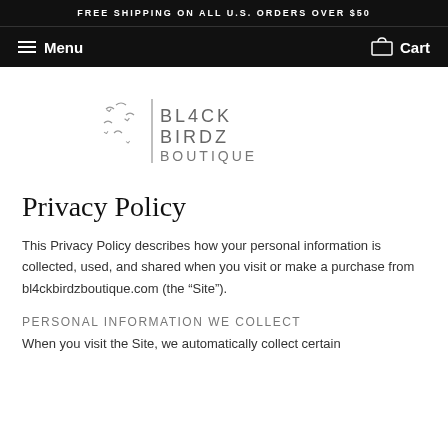FREE SHIPPING ON ALL U.S. ORDERS OVER $50
Menu   Cart
[Figure (logo): Bl4ck Birdz Boutique logo with stylized birds flying next to a vertical line and the text BL4CK BIRDZ BOUTIQUE in spaced letters]
Privacy Policy
This Privacy Policy describes how your personal information is collected, used, and shared when you visit or make a purchase from bl4ckbirdzboutique.com (the “Site”).
PERSONAL INFORMATION WE COLLECT
When you visit the Site, we automatically collect certain